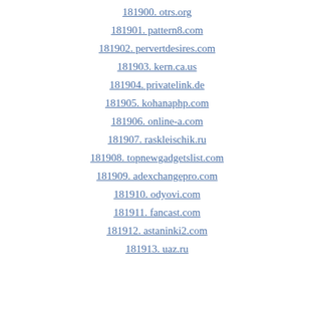181900. otrs.org
181901. pattern8.com
181902. pervertdesires.com
181903. kern.ca.us
181904. privatelink.de
181905. kohanaphp.com
181906. online-a.com
181907. raskleischik.ru
181908. topnewgadgetslist.com
181909. adexchangepro.com
181910. odyovi.com
181911. fancast.com
181912. astaninki2.com
181913. uaz.ru